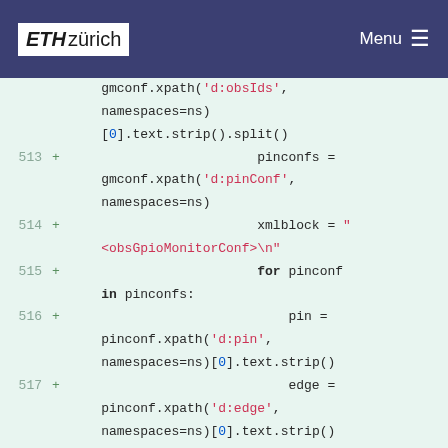ETH zürich   Menu
[Figure (screenshot): Code diff view showing Python code lines 513-519 with green background, line numbers in grey, plus signs in green, and syntax highlighting with red for string literals and bold for keywords]